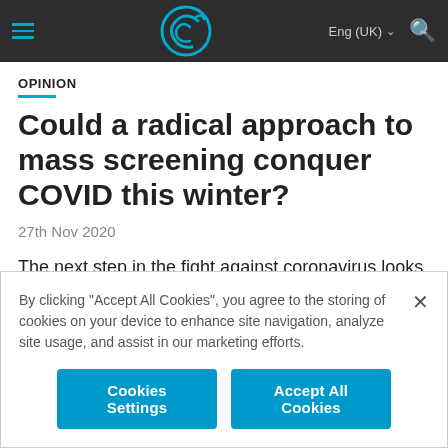OPINION
Could a radical approach to mass screening conquer COVID this winter?
27th Nov 2020
The next step in the fight against coronavirus looks set to be mass screening of whole cities and towns. Symon Cotton, Head of Life Sciences at Cambridge Consultants, believes that so-
By clicking “Accept All Cookies”, you agree to the storing of cookies on your device to enhance site navigation, analyze site usage, and assist in our marketing efforts.
Cookies Settings
Accept All Cookies